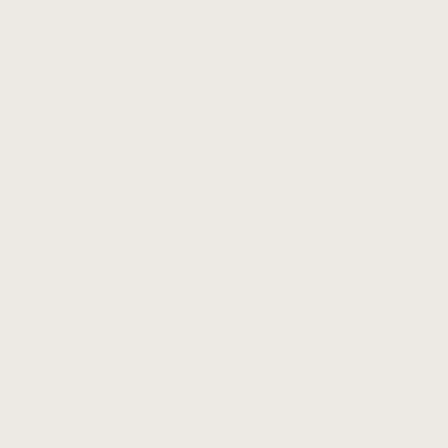| Rk | Name |  |  |  |
| --- | --- | --- | --- | --- |
| 19 | Miguel Pardo* | 275 | 4.88 | 4.8 |
| 20 | Katie Clayton | 89 | 7.28 | 6.0 |
| 21 | Helen Yamamoto* | 26 | 9.35 | 12. |
*Denotes active player
IP: Innings pitched (innings are baseball's
ERA: Earned Run Average, the average e
CERA: Component ERA – an overall perf
DIPS: Defense-Independent Pitching ERA
WHIP: Walks and hits per inning pitched, a
What's this? A category where Yan isn't o 2003 and 0.64 ERA in 2004. Despite this, quite a name for herself, with the third bes
Saves
| Rk | Name | S | G | RA | GF | HL |
| --- | --- | --- | --- | --- | --- | --- |
| 1 | Michelle Absalon | 50 | 84 | 84 | 69 | 1 |
| 2 | Josiah Leong* | 40 | 95 | 48 | 46 | 0 |
| 3 | Zubeda Khan* | 29 | 42 | 42 | 40 | 0 |
| 4 | Angel Poon* | 7 | 96 | 96 | 50 | 1 |
| 5 | Alvina Chu* | 3 | 55 | 55 | 27 | 1 |
| 6 | Sarah Jimenez | 2 | 76 | 63 | 24 | 1 |
| 7 | Katie Clayton | 2 | 61 | 61 | 40 | 5 |